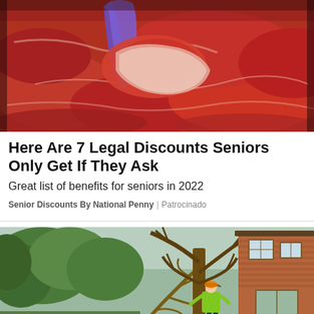[Figure (photo): Close-up of raw red meat cuts at a butcher counter, with a gloved hand (blue/purple nitrile glove) holding up a large cut of meat.]
Here Are 7 Legal Discounts Seniors Only Get If They Ask
Great list of benefits for seniors in 2022
Senior Discounts By National Penny | Patrocinado
[Figure (photo): Outdoor scene of a tree surgeon/arborist in a bright green high-visibility jacket and orange hard hat, standing next to a large felled or heavily pruned tree in a garden next to a brick house.]